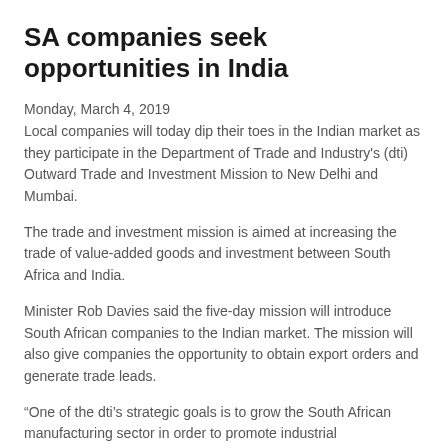SA companies seek opportunities in India
Monday, March 4, 2019
Local companies will today dip their toes in the Indian market as they participate in the Department of Trade and Industry's (dti) Outward Trade and Investment Mission to New Delhi and Mumbai.
The trade and investment mission is aimed at increasing the trade of value-added goods and investment between South Africa and India.
Minister Rob Davies said the five-day mission will introduce South African companies to the Indian market. The mission will also give companies the opportunity to obtain export orders and generate trade leads.
“One of the dti’s strategic goals is to grow the South African manufacturing sector in order to promote industrial